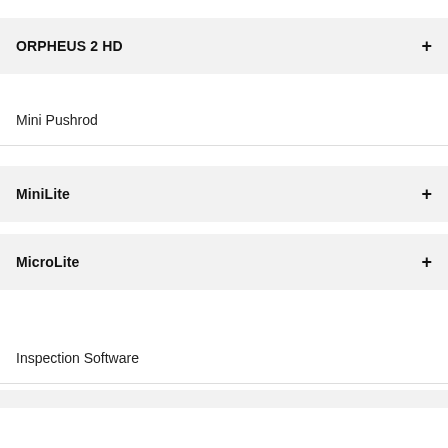ORPHEUS 2 HD +
Mini Pushrod
MiniLite +
MicroLite +
Inspection Software